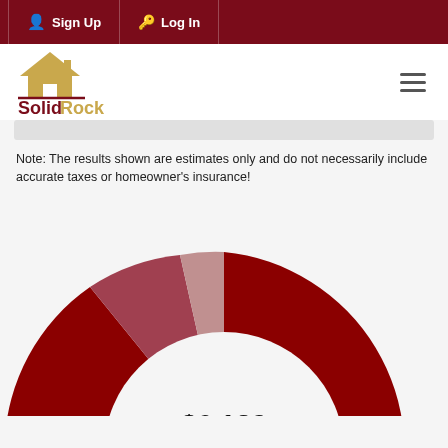Sign Up  Log In
[Figure (logo): Solid Rock Realtors logo with house icon, dark red and gold text]
Note: The results shown are estimates only and do not necessarily include accurate taxes or homeowner's insurance!
[Figure (donut-chart): $6,132 Monthly Payment]